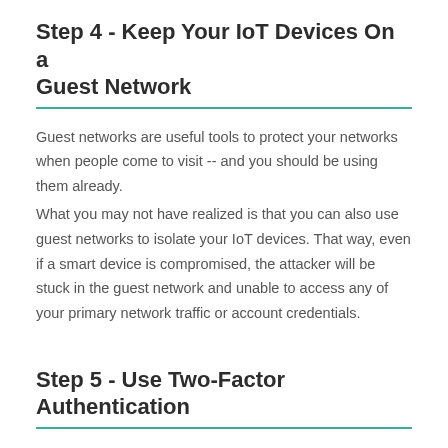Step 4 - Keep Your IoT Devices On a Guest Network
Guest networks are useful tools to protect your networks when people come to visit -- and you should be using them already.
What you may not have realized is that you can also use guest networks to isolate your IoT devices. That way, even if a smart device is compromised, the attacker will be stuck in the guest network and unable to access any of your primary network traffic or account credentials.
Step 5 - Use Two-Factor Authentication
The final step is two-factor authentication (2FA). You